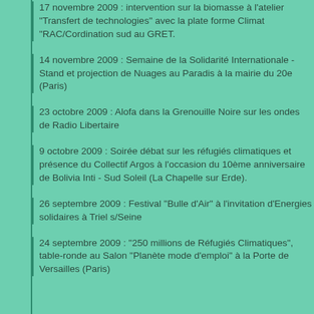17 novembre 2009 : intervention sur la biomasse à l'atelier "Transfert de technologies" avec la plate forme Climat "RAC/Cordination sud au GRET.
14 novembre 2009 : Semaine de la Solidarité Internationale - Stand et projection de Nuages au Paradis à la mairie du 20e (Paris)
23 octobre 2009 : Alofa dans la Grenouille Noire sur les ondes de Radio Libertaire
9 octobre 2009 : Soirée débat sur les réfugiés climatiques et présence du Collectif Argos à l'occasion du 10ème anniversaire de Bolivia Inti - Sud Soleil (La Chapelle sur Erde).
26 septembre 2009 : Festival "Bulle d'Air" à l'invitation d'Energies solidaires à Triel s/Seine
24 septembre 2009 : "250 millions de Réfugiés Climatiques", table-ronde au Salon "Planète mode d'emploi" à la Porte de Versailles (Paris)